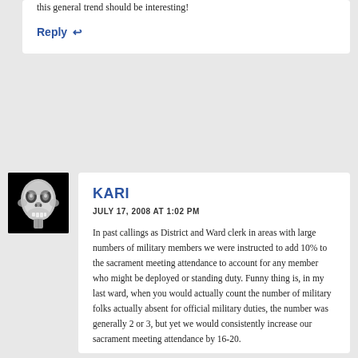this general trend should be interesting!
Reply
KARI
JULY 17, 2008 AT 1:02 PM
In past callings as District and Ward clerk in areas with large numbers of military members we were instructed to add 10% to the sacrament meeting attendance to account for any member who might be deployed or standing duty. Funny thing is, in my last ward, when you would actually count the number of military folks actually absent for official military duties, the number was generally 2 or 3, but yet we would consistently increase our sacrament meeting attendance by 16-20.